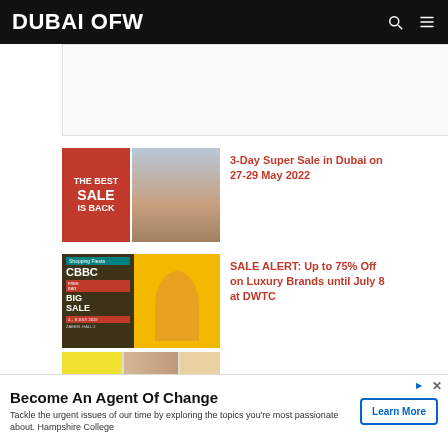DUBAI OFW
[Figure (screenshot): Advertisement placeholder banner]
[Figure (photo): 3-Day Super Sale promotional image showing sale banner and mall interior]
3-Day Super Sale in Dubai on 27-29 May 2022
[Figure (photo): Shopping Fiesta banner with CBBC Big Sale event, woman holding shopping bags, 4-8 July 2019, Zabeel Hall 2]
SALE ALERT: Up to 75% Off on Luxury Brands until July 8 at DWTC
[Figure (photo): Partial view of sale items with price tags showing 260 and 89]
Become An Agent Of Change
Tackle the urgent issues of our time by exploring the topics you're most passionate about. Hampshire College
Learn More